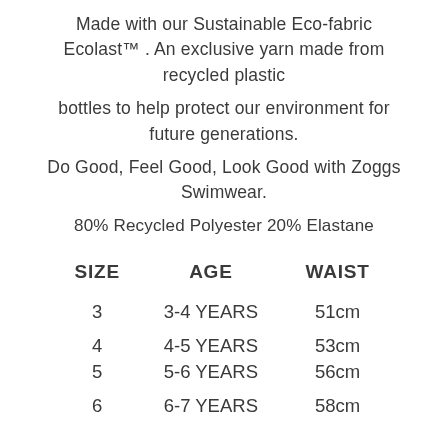Made with our Sustainable Eco-fabric Ecolast™ . An exclusive yarn made from recycled plastic
bottles to help protect our environment for future generations.
Do Good, Feel Good, Look Good with Zoggs Swimwear.
80% Recycled Polyester 20% Elastane
| SIZE | AGE | WAIST |
| --- | --- | --- |
| 3 | 3-4 YEARS | 51cm |
| 4 | 4-5 YEARS | 53cm |
| 5 | 5-6 YEARS | 56cm |
| 6 | 6-7 YEARS | 58cm |